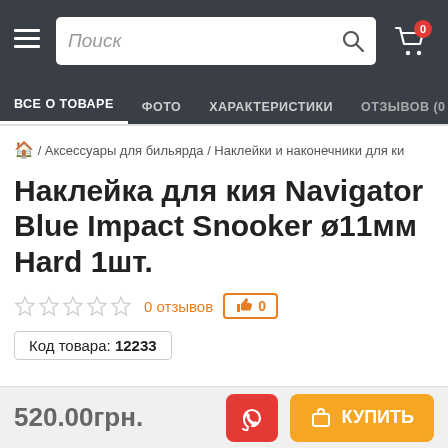Поиск | Cart (0)
ВСЕ О ТОВАРЕ | ФОТО | ХАРАКТЕРИСТИКИ | ОТЗЫВОВ (0
🏠 / Аксессуары для бильярда / Наклейки и наконечники для ки…
Наклейка для кия Navigator Blue Impact Snooker ø11мм Hard 1шт.
☆☆☆☆☆  0 отзывов  👍 0
Код товара: 12233
520.00грн.  📞  🛒 КУПИТЬ